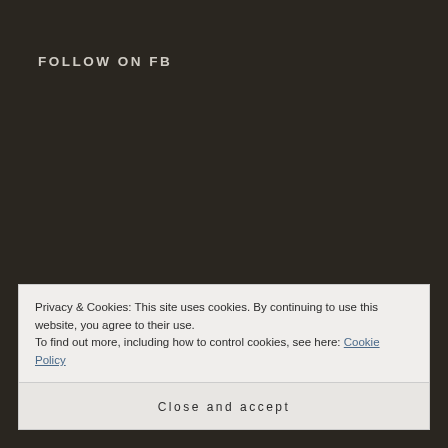FOLLOW ON FB
Privacy & Cookies: This site uses cookies. By continuing to use this website, you agree to their use.
To find out more, including how to control cookies, see here: Cookie Policy
Close and accept